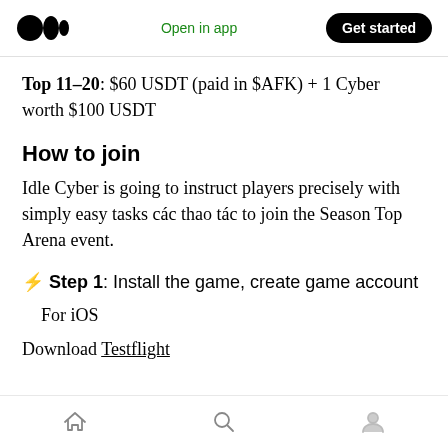Medium logo | Open in app | Get started
Top 11–20: $60 USDT (paid in $AFK) + 1 Cyber worth $100 USDT
How to join
Idle Cyber is going to instruct players precisely with simply easy tasks các thao tác to join the Season Top Arena event.
⚡ Step 1: Install the game, create game account
For iOS
Download Testflight
Home | Search | Profile